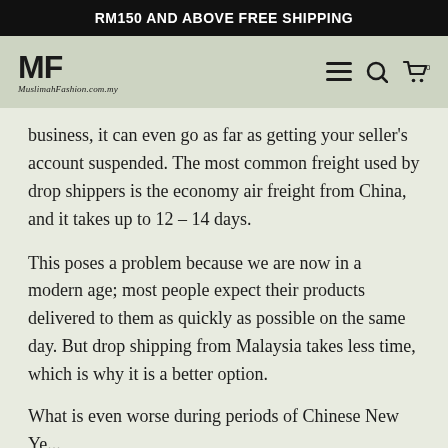RM150 AND ABOVE FREE SHIPPING
[Figure (logo): MF MuslimahFashion.com.my logo with navigation icons (hamburger menu, search, cart)]
business, it can even go as far as getting your seller's account suspended. The most common freight used by drop shippers is the economy air freight from China, and it takes up to 12 – 14 days.
This poses a problem because we are now in a modern age; most people expect their products delivered to them as quickly as possible on the same day. But drop shipping from Malaysia takes less time, which is why it is a better option.
What is even worse during periods of Chinese New Ye...